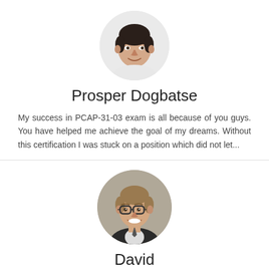[Figure (photo): Circular profile photo of a young man with dark short hair, smiling, against a light background.]
Prosper Dogbatse
My success in PCAP-31-03 exam is all because of you guys. You have helped me achieve the goal of my dreams. Without this certification I was stuck on a position which did not let...
[Figure (photo): Circular profile photo of a young man with glasses and light brown hair, smiling, wearing a suit, against a grey background.]
David
Our PCAP-31-03 exam products are examined by a large number of customers who previously passed various tests by...